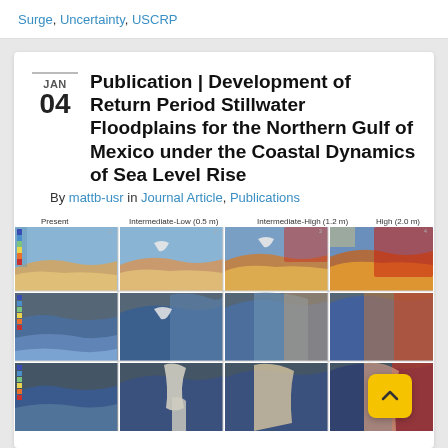Surge, Uncertainty, USCRP
Publication | Development of Return Period Stillwater Floodplains for the Northern Gulf of Mexico under the Coastal Dynamics of Sea Level Rise
By mattb-usr in Journal Article, Publications
[Figure (infographic): A 4x4 grid of coastal flood maps showing stillwater floodplains under four sea level rise scenarios: Present, Intermediate-Low (0.5 m), Intermediate-High (1.2 m), and High (2.0 m), for three different locations along the Northern Gulf of Mexico. Color scale ranges from blue (lower) to red/orange (higher flood levels).]